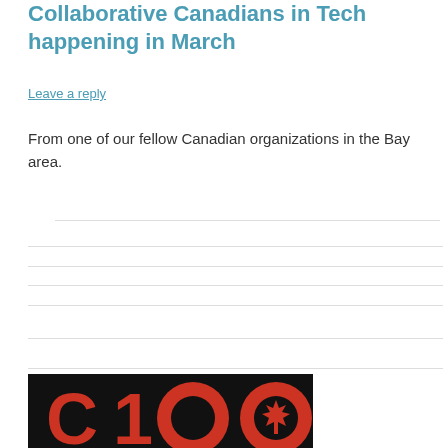Collaborative Canadians in Tech happening in March
Leave a reply
From one of our fellow Canadian organizations in the Bay area.
[Figure (logo): C100 logo — black background with large red letters 'C100' where the zeros are styled as circles, one containing a star and one containing a maple leaf]